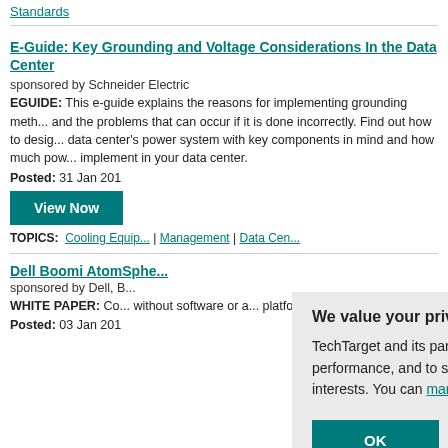Standards
E-Guide: Key Grounding and Voltage Considerations In the Data Center
sponsored by Schneider Electric
EGUIDE: This e-guide explains the reasons for implementing grounding methods and the problems that can occur if it is done incorrectly. Find out how to design a data center's power system with key components in mind and how much power to implement in your data center.
Posted: 31 Jan 201
View Now
TOPICS:  Cooling Equip... | Data Center Management | Data Cen...
Dell Boomi AtomSphe...
sponsored by Dell, B...
WHITE PAPER: Co... without software or a... platform as a service...
Posted: 03 Jan 201
We value your privacy. TechTarget and its partners employ cookies to improve your experience on our site, to analyze traffic and performance, and to serve personalized content and advertising that are relevant to your professional interests. You can manage your settings at any time. Please view our Privacy Policy for more information
OK
Settings